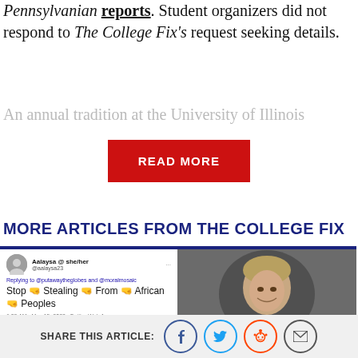Pennsylvanian reports. Student organizers did not respond to The College Fix's request seeking details.
An annual tradition at the University of Illinois
[Figure (other): Red 'READ MORE' button]
MORE ARTICLES FROM THE COLLEGE FIX
[Figure (screenshot): Screenshot of a tweet by Aalaysia @she/her @aalaysia23: 'Stop Stealing From African Peoples' posted 6:35 AM May 15, 2022 via Twitter Web App]
[Figure (photo): Headshot of a man in a dark suit smiling]
SHARE THIS ARTICLE: